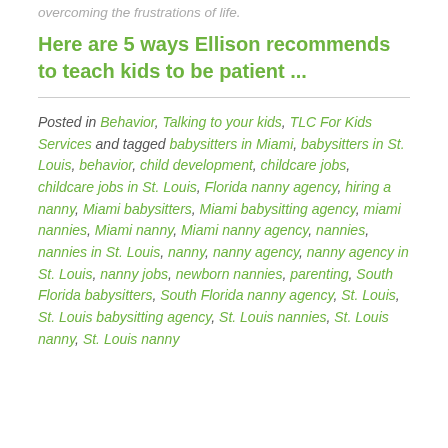overcoming the frustrations of life.
Here are 5 ways Ellison recommends to teach kids to be patient ...
Posted in Behavior, Talking to your kids, TLC For Kids Services and tagged babysitters in Miami, babysitters in St. Louis, behavior, child development, childcare jobs, childcare jobs in St. Louis, Florida nanny agency, hiring a nanny, Miami babysitters, Miami babysitting agency, miami nannies, Miami nanny, Miami nanny agency, nannies, nannies in St. Louis, nanny, nanny agency, nanny agency in St. Louis, nanny jobs, newborn nannies, parenting, South Florida babysitters, South Florida nanny agency, St. Louis, St. Louis babysitting agency, St. Louis nannies, St. Louis nanny, St. Louis nanny